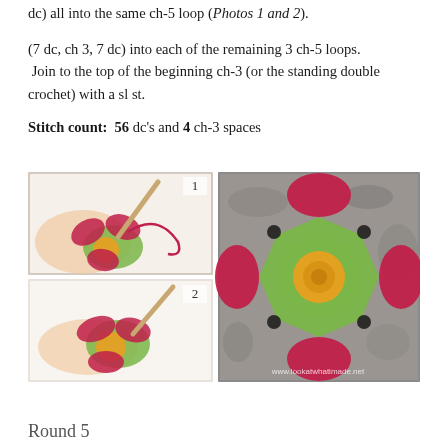dc) all into the same ch-5 loop (Photos 1 and 2).
(7 dc, ch 3, 7 dc) into each of the remaining 3 ch-5 loops. Join to the top of the beginning ch-3 (or the standing double crochet) with a sl st.
Stitch count: 56 dc’s and 4 ch-3 spaces
[Figure (photo): Three photos: top-left shows hands crocheting pink and green flower motif with crochet hook (labeled 1), bottom-left shows similar close-up of crochet work in progress (labeled 2), right shows completed pink four-petal flower crochet motif with yellow center and green border on stone background, with watermark www.lookatwhatimade.net]
Round 5